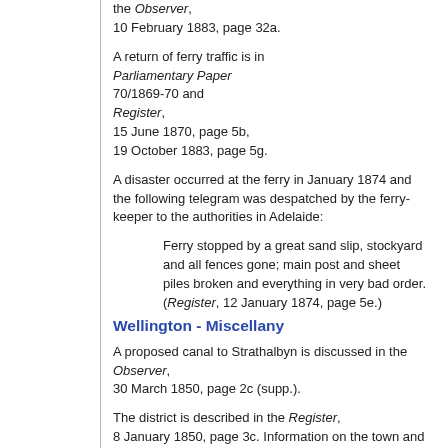the Observer, 10 February 1883, page 32a.
A return of ferry traffic is in Parliamentary Paper 70/1869-70 and Register, 15 June 1870, page 5b, 19 October 1883, page 5g.
A disaster occurred at the ferry in January 1874 and the following telegram was despatched by the ferry-keeper to the authorities in Adelaide:
Ferry stopped by a great sand slip, stockyard and all fences gone; main post and sheet piles broken and everything in very bad order. (Register, 12 January 1874, page 5e.)
Wellington - Miscellany
A proposed canal to Strathalbyn is discussed in the Observer, 30 March 1850, page 2c (supp.).
The district is described in the Register, 8 January 1850, page 3c. Information on the town and local pastoral runs is in the Advertiser, 25 May 1860, page 3a, Observer,